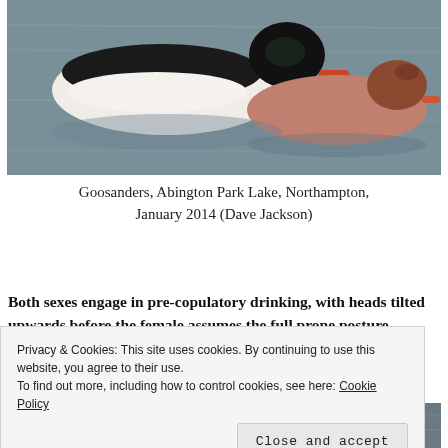[Figure (photo): Two ducks (Goosanders) swimming on water — one with white/black plumage and one with reddish-brown plumage]
Goosanders, Abington Park Lake, Northampton, January 2014 (Dave Jackson)
Both sexes engage in pre-copulatory drinking, with heads tilted upwards before the female assumes the full prone posture inviting copulation.
[Figure (photo): Partial view of ducks on water, partially obscured by cookie consent banner]
Privacy & Cookies: This site uses cookies. By continuing to use this website, you agree to their use. To find out more, including how to control cookies, see here: Cookie Policy
Close and accept